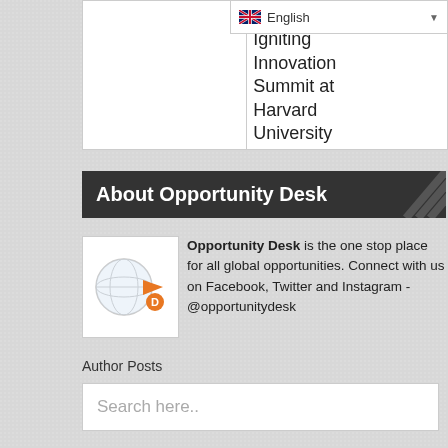|  |  |
| --- | --- |
|  | Ch...
Igniting Innovation Summit at Harvard University |
Igniting Innovation Summit at Harvard University
About Opportunity Desk
[Figure (logo): Opportunity Desk logo: globe with orange arrow and 'D' letter]
Opportunity Desk is the one stop place for all global opportunities. Connect with us on Facebook, Twitter and Instagram - @opportunitydesk
Author Posts
Search here..